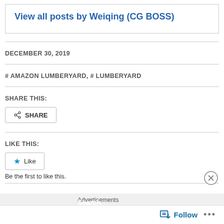View all posts by Weiqing (CG BOSS)
DECEMBER 30, 2019
# AMAZON LUMBERYARD, # LUMBERYARD
SHARE THIS:
SHARE
LIKE THIS:
Like
Be the first to like this.
Advertisements
Search, browse, and email
Follow